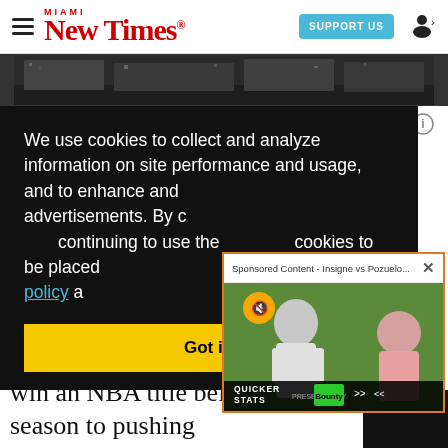Miami New Times — SUPPORT US
[Figure (photo): Black and white photograph strip of a crowd or stadium scene]
2:51 AM · Oct 12, 2020
We use cookies to collect and analyze information on site performance and usage, and to enhance and customize content and advertisements. By continuing to use the site, you agree to cookies to be placed on your browser. Read our cookies policy a…
[Figure (screenshot): Sponsored Content popup showing 'Insigne vs Pozuelo...' with two soccer players and QUICKER STATS branding]
Got it!
to win an NBA title before the season to pushing